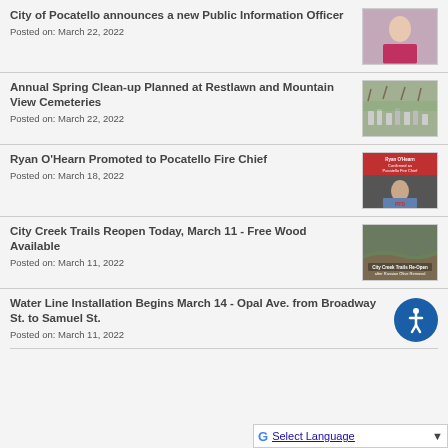City of Pocatello announces a new Public Information Officer
Posted on: March 22, 2022
[Figure (photo): Headshot of a woman with blonde hair in a pink top]
Annual Spring Clean-up Planned at Restlawn and Mountain View Cemeteries
Posted on: March 22, 2022
[Figure (photo): Cemetery with grave markers and bare trees]
Ryan O’Hearn Promoted to Pocatello Fire Chief
Posted on: March 18, 2022
[Figure (photo): Man in blue shirt with text overlay: Ryan O'Hearn Confirmed as Pocatello Fire Chief]
City Creek Trails Reopen Today, March 11 - Free Wood Available
Posted on: March 11, 2022
[Figure (photo): Aerial view of trails with text: City Creek Trails Re-Open after Russian Olive Removal]
Water Line Installation Begins March 14 - Opal Ave. from Broadway St. to Samuel St.
Posted on: March 11, 2022
[Figure (illustration): Accessibility icon - blue circle with white figure]
Select Language